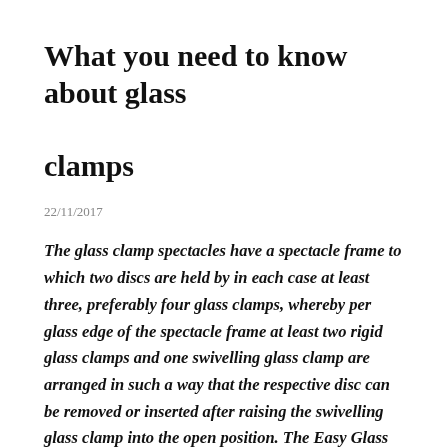What you need to know about glass clamps
22/11/2017
The glass clamp spectacles have a spectacle frame to which two discs are held by in each case at least three, preferably four glass clamps, whereby per glass edge of the spectacle frame at least two rigid glass clamps and one swivelling glass clamp are arranged in such a way that the respective disc can be removed or inserted after raising the swivelling glass clamp into the open position. The Easy Glass base glass clamps are in a league of their own. Senden Sie Ihre